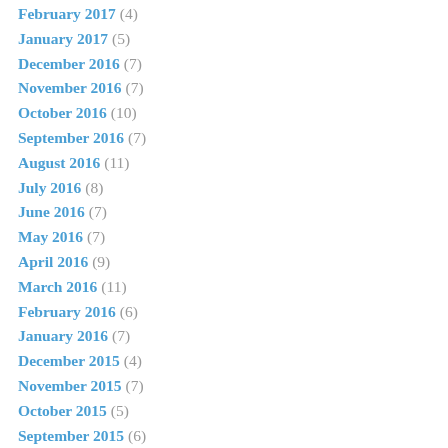February 2017 (4)
January 2017 (5)
December 2016 (7)
November 2016 (7)
October 2016 (10)
September 2016 (7)
August 2016 (11)
July 2016 (8)
June 2016 (7)
May 2016 (7)
April 2016 (9)
March 2016 (11)
February 2016 (6)
January 2016 (7)
December 2015 (4)
November 2015 (7)
October 2015 (5)
September 2015 (6)
August 2015 (7)
July 2015 (7)